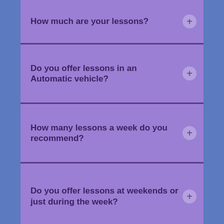How much are your lessons?
Do you offer lessons in an Automatic vehicle?
How many lessons a week do you recommend?
Do you offer lessons at weekends or just during the week?
How many lessons do you think I will need?
Where can I find payment options?